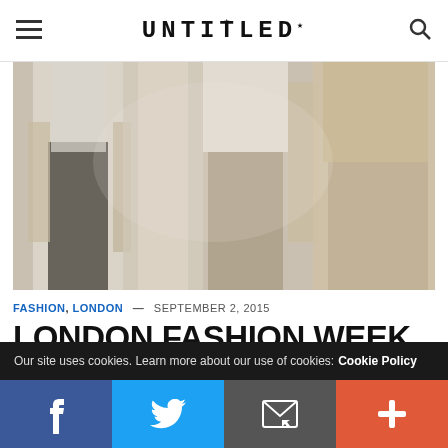≡  UNTITLED  🔍
[Figure (photo): Blurred fashion photo showing models in clothing, outdoor setting, muted warm tones]
FASHION, LONDON — SEPTEMBER 2, 2015
LONDON FASHION WEEK SS16! GET
Our site uses cookies. Learn more about our use of cookies: Cookie Policy
f  🐦  ✉  +